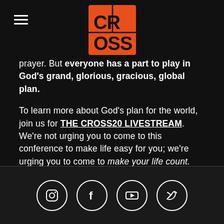[Figure (logo): CROSS conference logo — orange square background with bold black block letters CR/OSS arranged in a 2x2 grid]
prayer. But everyone has a part to play in God's grand, glorious, gracious, global plan.

To learn more about God's plan for the world, join us for THE CROSS20 LIVESTREAM. We're not urging you to come to this conference to make life easy for you; we're urging you to come to make your life count. CLICK HERE TO LEARN MORE AND REGISTER NOW.
[Figure (infographic): Footer with four social media icons in white circles: Instagram, Facebook, YouTube, Twitter]